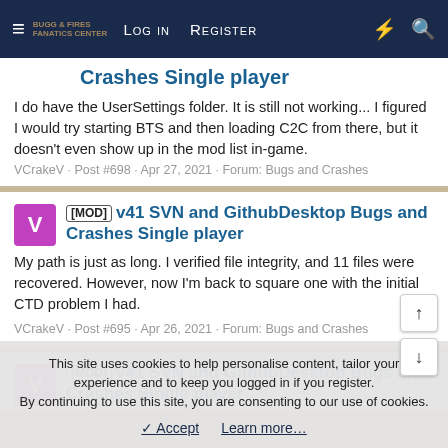Log in  Register
Crashes Single player
I do have the UserSettings folder. It is still not working... I figured I would try starting BTS and then loading C2C from there, but it doesn't even show up in the mod list in-game.
VCrakeV · Post #698 · Apr 27, 2021 · Forum: Bugs and Crashes
[MOD] v41 SVN and GithubDesktop Bugs and Crashes Single player
My path is just as long. I verified file integrity, and 11 files were recovered. However, now I'm back to square one with the initial CTD problem I had.
VCrakeV · Post #695 · Apr 26, 2021 · Forum: Bugs and Crashes
[MOD] v41 SVN and GithubDesktop Bugs and Crashes Single player
This site uses cookies to help personalise content, tailor your experience and to keep you logged in if you register.
By continuing to use this site, you are consenting to our use of cookies.
✓ Accept    Learn more…